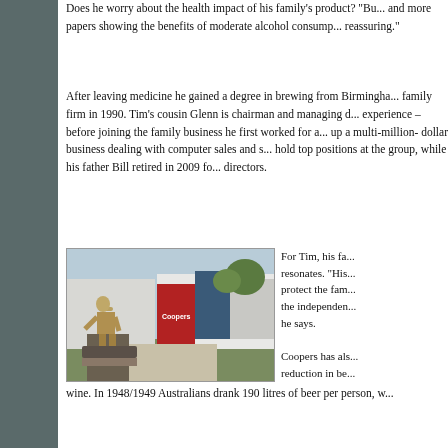Does he worry about the health impact of his family's product? "Bu... and more papers showing the benefits of moderate alcohol consumption... reassuring."
After leaving medicine he gained a degree in brewing from Birmingham... family firm in 1990. Tim's cousin Glenn is chairman and managing d... experience – before joining the family business he first worked for a... up a multi-million- dollar business dealing with computer sales and s... hold top positions at the group, while his father Bill retired in 2009 fo... directors.
[Figure (photo): Exterior photo of Coopers brewery building with a bronze statue of a man working in the foreground. The building features red and glass architectural elements with trees in the background.]
For Tim, his fa... resonates. "His... protect the fam... the independen... he says.
Coopers has als... reduction in be...
wine. In 1948/1949 Australians drank 190 litres of beer per person, w...